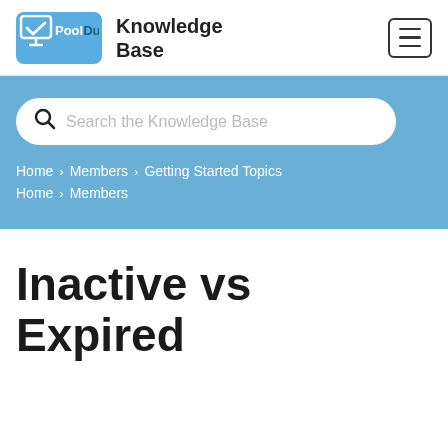[Figure (logo): PoolDues logo - blue rounded rectangle with monitor icon and 'PoolDues' text]
Knowledge Base
[Figure (screenshot): Hamburger menu button icon (three horizontal lines in a bordered box)]
Search the Knowledge Base
Home > Members > Getting Started Topics
Home > Members
Inactive vs Expired